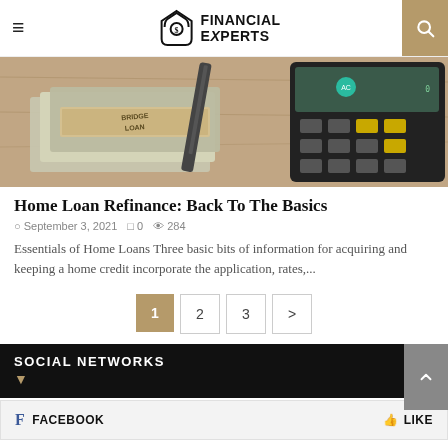Financial Experts
[Figure (photo): Photo of money/cash bundles with a 'Bridge Loan' label band, next to a calculator and pen on a wooden surface.]
Home Loan Refinance: Back To The Basics
September 3, 2021  0  284
Essentials of Home Loans Three basic bits of information for acquiring and keeping a home credit incorporate the application, rates,...
1  2  3  >
SOCIAL NETWORKS
f FACEBOOK   LIKE